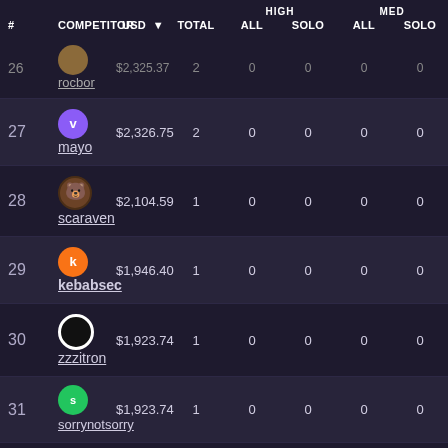| # | COMPETITOR | USD ▼ | TOTAL | HIGH ALL | HIGH SOLO | MED ALL | MED SOLO |
| --- | --- | --- | --- | --- | --- | --- | --- |
| 26 | rocbor | $2,325.37 | 2 | 0 | 0 | 0 | 0 |
| 27 | mayo | $2,326.75 | 2 | 0 | 0 | 0 | 0 |
| 28 | scaraven | $2,104.59 | 1 | 0 | 0 | 0 | 0 |
| 29 | kebabsec | $1,946.40 | 1 | 0 | 0 | 0 | 0 |
| 30 | zzzitron | $1,923.74 | 1 | 0 | 0 | 0 | 0 |
| 31 | sorrynotsorry | $1,923.74 | 1 | 0 | 0 | 0 | 0 |
| 32 | tintin | $1,904.83 | 1 | 0 | 0 | 0 | 0 |